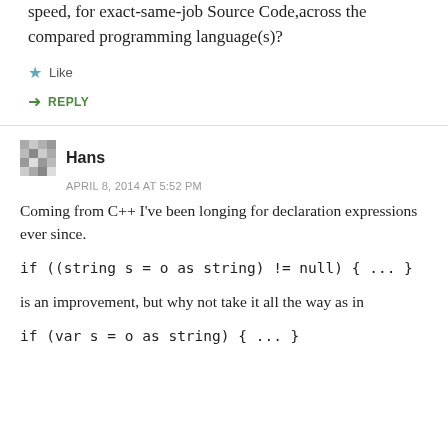speed, for exact-same-job Source Code,across the compared programming language(s)?
★ Like
➜ REPLY
Hans
APRIL 8, 2014 AT 5:52 PM
Coming from C++ I've been longing for declaration expressions ever since.
if ((string s = o as string) != null) { ... }
is an improvement, but why not take it all the way as in
if (var s = o as string) { ... }